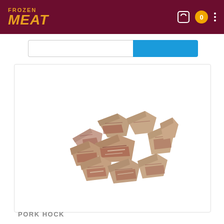FROZEN MEAT
[Figure (photo): Frozen pork hock pieces cut into chunks, displayed on white background. Multiple pieces showing marbled meat and bone.]
PORK HOCK